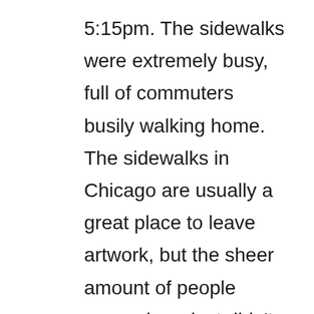5:15pm. The sidewalks were extremely busy, full of commuters busily walking home. The sidewalks in Chicago are usually a great place to leave artwork, but the sheer amount of people everywhere just didn't feel right. I would get in people's way with placing this artwork. Plus, people don't like their photo being taken in the background.
Something just didn't feel right for me to place this artwork tonight. However, determined to place this artwork, a quieter place was needed. I departed the parade of people on Lake Street, and turned down an